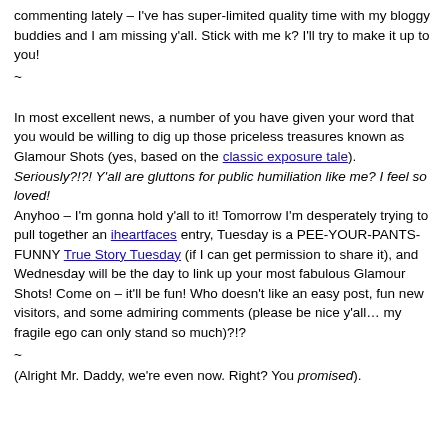commenting lately – I've has super-limited quality time with my bloggy buddies and I am missing y'all.  Stick with me k?  I'll try to make it up to you!
~
In most excellent news, a number of you have given your word that you would be willing to dig up those priceless treasures known as Glamour Shots (yes, based on the classic exposure tale).
Seriously?!?!  Y'all are gluttons for public humiliation like me?  I feel so loved!
Anyhoo – I'm gonna hold y'all to it!  Tomorrow I'm desperately trying to pull together an iheartfaces entry, Tuesday is a PEE-YOUR-PANTS-FUNNY True Story Tuesday (if I can get permission to share it), and Wednesday will be the day to link up your most fabulous Glamour Shots!  Come on – it'll be fun!  Who doesn't like an easy post, fun new visitors, and some admiring comments (please be nice y'all… my fragile ego can only stand so much)?!?
~
(Alright Mr. Daddy, we're even now.  Right?  You promised).